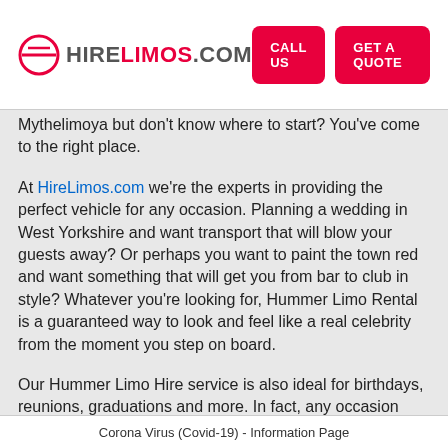HIRELIMOS.COM | CALL US | GET A QUOTE
Mythelimoya but don't know where to start? You've come to the right place.
At HireLimos.com we're the experts in providing the perfect vehicle for any occasion. Planning a wedding in West Yorkshire and want transport that will blow your guests away? Or perhaps you want to paint the town red and want something that will get you from bar to club in style? Whatever you're looking for, Hummer Limo Rental is a guaranteed way to look and feel like a real celebrity from the moment you step on board.
Our Hummer Limo Hire service is also ideal for birthdays, reunions, graduations and more. In fact, any occasion when only the very best will do. And with their spacious
Corona Virus (Covid-19) - Information Page